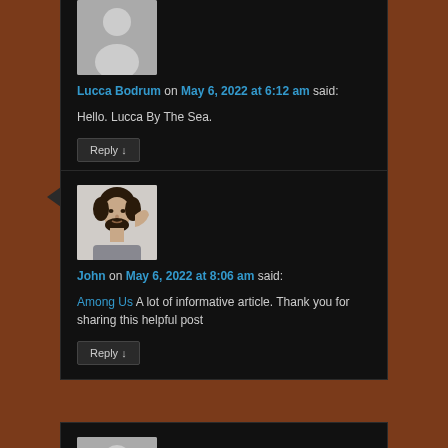[Figure (photo): Circular avatar silhouette placeholder image (gray)]
Lucca Bodrum on May 6, 2022 at 6:12 am said:
Hello. Lucca By The Sea.
Reply ↓
[Figure (photo): Photo of a man (dark curly hair, beard, gray shirt) posing with hand behind head]
John on May 6, 2022 at 8:06 am said:
Among Us A lot of informative article. Thank you for sharing this helpful post
Reply ↓
[Figure (photo): Partial circular avatar silhouette placeholder image (gray) — third comment block, cropped at bottom]